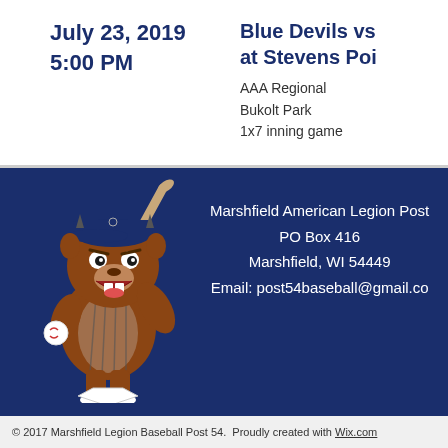July 23, 2019
5:00 PM
Blue Devils vs
at Stevens Poi
AAA Regional
Bukolt Park
1x7 inning game
[Figure (illustration): Marshfield Blue Devils mascot - cartoon beaver/groundhog character in baseball uniform holding a bat, standing on home plate]
Marshfield American Legion Post
PO Box 416
Marshfield, WI 54449
Email: post54baseball@gmail.com
© 2017 Marshfield Legion Baseball Post 54.  Proudly created with Wix.com